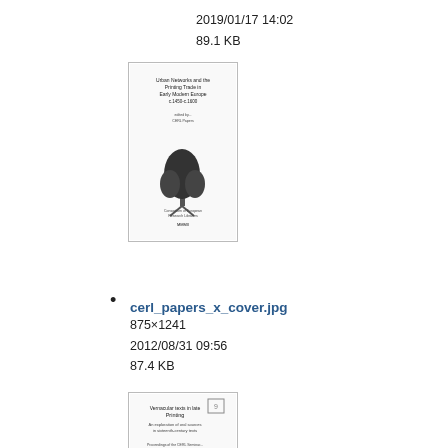2019/01/17 14:02
89.1 KB
[Figure (illustration): Thumbnail of a book cover with tree logo (cerl_papers_x_cover.jpg)]
cerl_papers_x_cover.jpg
875×1241
2012/08/31 09:56
87.4 KB
[Figure (illustration): Thumbnail of a book cover with tree logo (cerl_papers_xi_cover.jpg)]
cerl_papers_xi_cover.jpg
781×1083
2012/08/31 09:56
76 KB
[Figure (illustration): Thumbnail of another book cover (partial, bottom of page)]